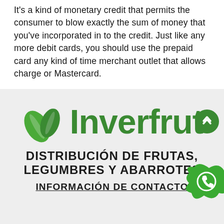It's a kind of monetary credit that permits the consumer to blow exactly the sum of money that you've incorporated in to the credit. Just like any more debit cards, you should use the prepaid card any kind of time merchant outlet that allows charge or Mastercard.
[Figure (logo): Inverfrut logo with two green leaves and green bold text 'Inverfrut', with a green circle scroll-up button on the right]
DISTRIBUCIÓN DE FRUTAS, LEGUMBRES Y ABARROTES
[Figure (logo): WhatsApp icon in a green blob/splash shape in the bottom right corner]
INFORMACIÓN DE CONTACTO